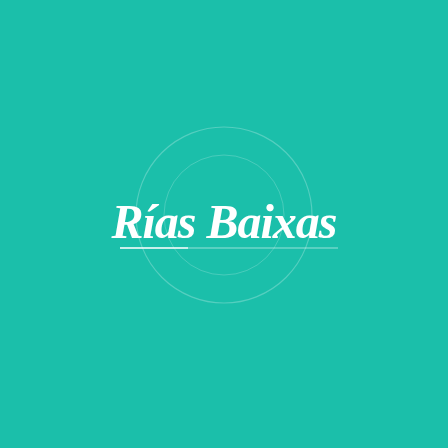[Figure (logo): Rías Baixas logo in white handwritten/script style text on a teal/turquoise background, with two concentric thin white circles centered behind the text, and a horizontal white line below the text spanning the width of the circles]